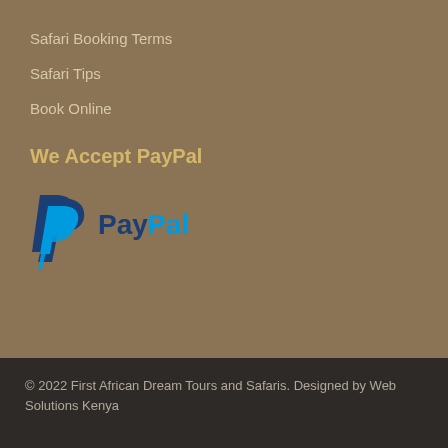Safari Booking Terms
Safari Tips
Book Online
We Accept PayPal
[Figure (logo): PayPal logo with blue P icon and PayPal wordmark in dark blue and light blue]
© 2022 First African Dream Tours and Safaris. Designed by Web Solutions Kenya